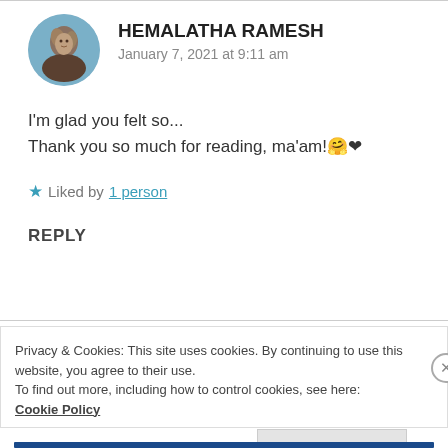HEMALATHA RAMESH
January 7, 2021 at 9:11 am
I'm glad you felt so...
Thank you so much for reading, ma'am! 🤗 ❤
Liked by 1 person
REPLY
Privacy & Cookies: This site uses cookies. By continuing to use this website, you agree to their use.
To find out more, including how to control cookies, see here: Cookie Policy
Close and accept